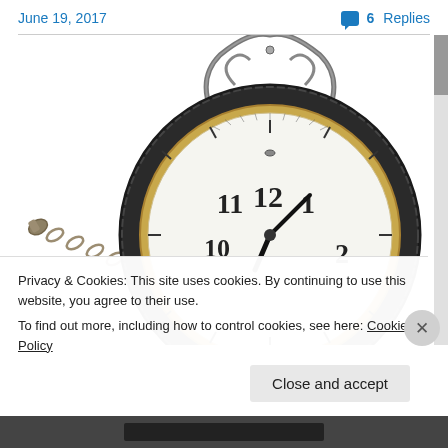June 19, 2017   💬 6 Replies
[Figure (photo): Close-up photo of an antique silver pocket watch with ornate crown and chain, showing clock face with numbers 10, 11, 12, 1, 2 visible, on white background]
Privacy & Cookies: This site uses cookies. By continuing to use this website, you agree to their use.
To find out more, including how to control cookies, see here: Cookie Policy
Close and accept